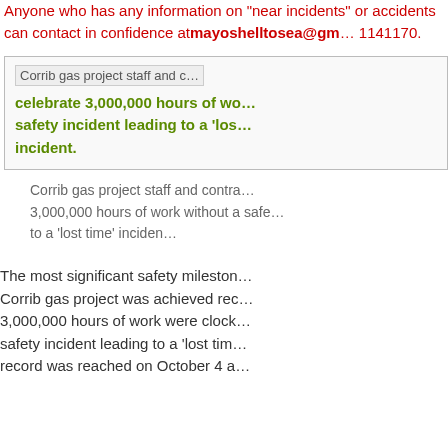Anyone who has any information on "near incidents" or accidents can contact in confidence at mayoshelltosea@gm... 1141170.
[Figure (photo): Corrib gas project staff and contractors celebrate 3,000,000 hours of work without a safety incident leading to a 'lost time' incident.]
Corrib gas project staff and contractors celebrate 3,000,000 hours of work without a safety incident leading to a 'lost time' incident.
The most significant safety milestone on the Corrib gas project was achieved recently when 3,000,000 hours of work were clocked without a safety incident leading to a 'lost time' incident. The record was reached on October 4 a...